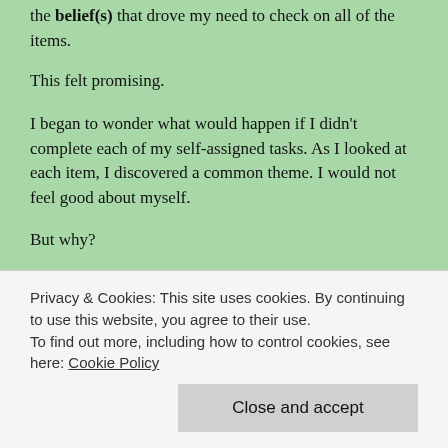the belief(s) that drove my need to check on all of the items.
This felt promising.
I began to wonder what would happen if I didn't complete each of my self-assigned tasks. As I looked at each item, I discovered a common theme. I would not feel good about myself.
But why?
That now seemed like the critical question to ask. What
Privacy & Cookies: This site uses cookies. By continuing to use this website, you agree to their use.
To find out more, including how to control cookies, see here: Cookie Policy
Close and accept